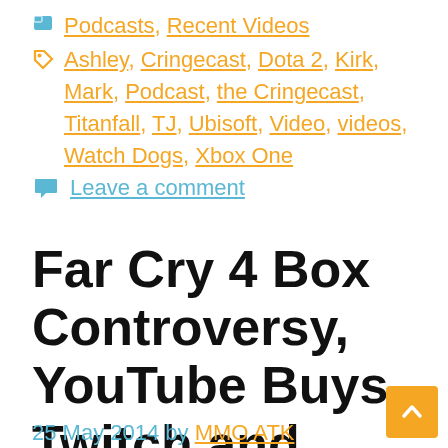Podcasts, Recent Videos
Ashley, Cringecast, Dota 2, Kirk, Mark, Podcast, the Cringecast, Titanfall, TJ, Ubisoft, Video, videos, Watch Dogs, Xbox One
Leave a comment
Far Cry 4 Box Controversy, YouTube Buys Twitch and more! | The Cringecast 8
25 May 2014 by MMO ATK